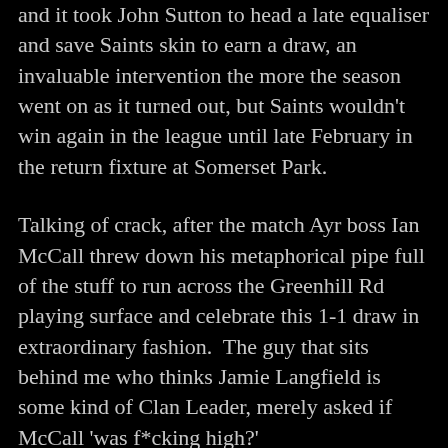and it took John Sutton to head a late equaliser and save Saints skin to earn a draw, an invaluable intervention the more the season went on as it turned out, but Saints wouldn't win again in the league until late February in the return fixture at Somerset Park.
Talking of crack, after the match Ayr boss Ian McCall threw down his metaphorical pipe full of the stuff to run across the Greenhill Rd playing surface and celebrate this 1-1 draw in extraordinary fashion.  The guy that sits behind me who thinks Jamie Langfield is some kind of Clan Leader, merely asked if McCall 'was f*cking high?'
The spectacle of McCall outside the main stand half an hour later, his wee bloated face lit up by the fiery end of whatever he was drawing the life out of may have